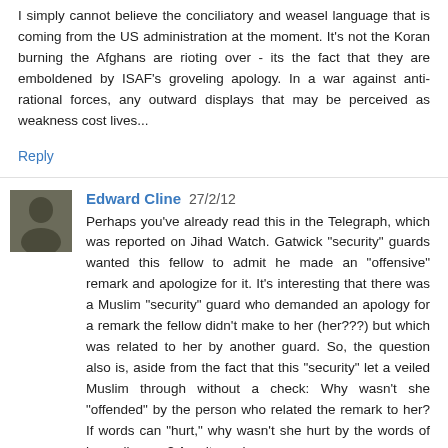I simply cannot believe the conciliatory and weasel language that is coming from the US administration at the moment. It's not the Koran burning the Afghans are rioting over - its the fact that they are emboldened by ISAF's groveling apology. In a war against anti-rational forces, any outward displays that may be perceived as weakness cost lives...
Reply
Edward Cline 27/2/12
Perhaps you've already read this in the Telegraph, which was reported on Jihad Watch. Gatwick "security" guards wanted this fellow to admit he made an "offensive" remark and apologize for it. It's interesting that there was a Muslim "security" guard who demanded an apology for a remark the fellow didn't make to her (her???) but which was related to her by another guard. So, the question also is, aside from the fact that this "security" let a veiled Muslim through without a check: Why wasn't she "offended" by the person who related the remark to her? If words can "hurt," why wasn't she hurt by the words of her colleague? Aren't words